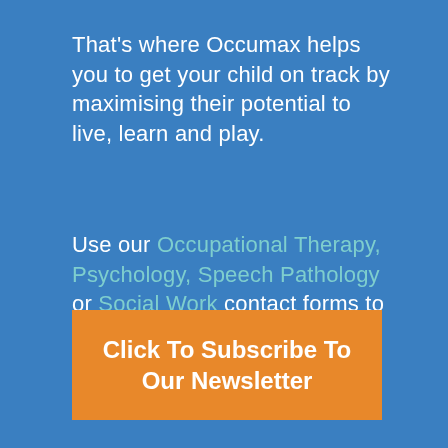That's where Occumax helps you to get your child on track by maximising their potential to live, learn and play.
Use our Occupational Therapy, Psychology, Speech Pathology or Social Work contact forms to make a referral or book an appointment online.
Click To Subscribe To Our Newsletter